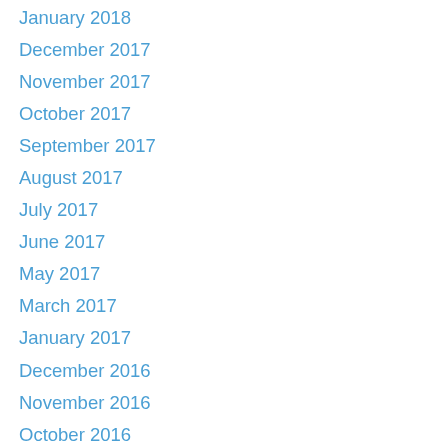January 2018
December 2017
November 2017
October 2017
September 2017
August 2017
July 2017
June 2017
May 2017
March 2017
January 2017
December 2016
November 2016
October 2016
September 2016
August 2016
July 2016
June 2016
May 2016
April 2016